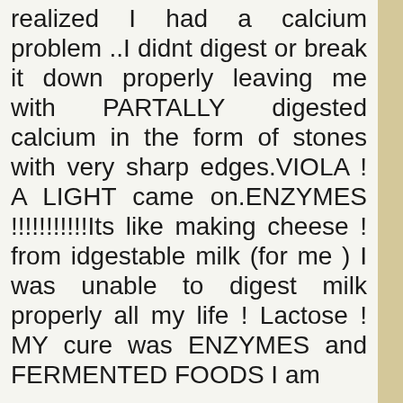realized I had a calcium problem ..I didnt digest or break it down properly leaving me with PARTALLY digested calcium in the form of stones with very sharp edges.VIOLA ! A LIGHT came on.ENZYMES !!!!!!!!!!!Its like making cheese ! from idgestable milk (for me ) I was unable to digest milk properly all my life ! Lactose ! MY cure was ENZYMES and FERMENTED FOODS I am